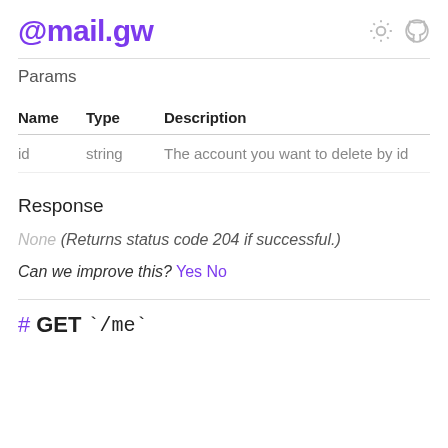@mail.gw
Params
| Name | Type | Description |
| --- | --- | --- |
| id | string | The account you want to delete by id |
Response
None (Returns status code 204 if successful.)
Can we improve this? Yes No
# GET `/me`